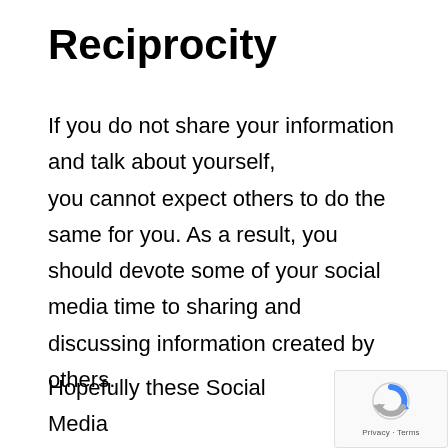Reciprocity
If you do not share your information and talk about yourself, you cannot expect others to do the same for you. As a result, you should devote some of your social media time to sharing and discussing information created by others.
Hopefully these Social Media Marketing principals were helpful